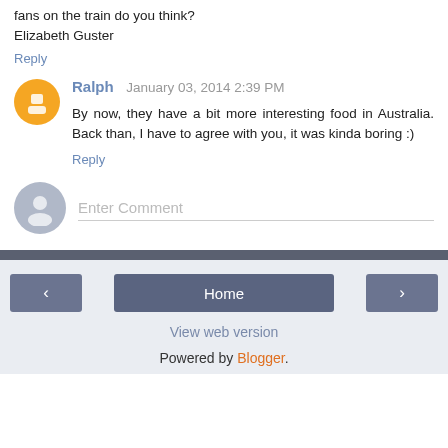fans on the train do you think?
Elizabeth Guster
Reply
Ralph  January 03, 2014 2:39 PM
By now, they have a bit more interesting food in Australia. Back than, I have to agree with you, it was kinda boring :)
Reply
Enter Comment
Home
View web version
Powered by Blogger.